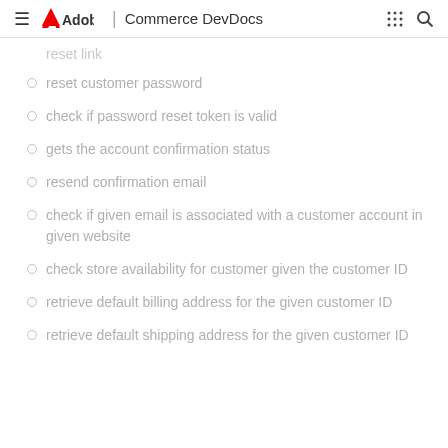Adobe | Commerce DevDocs
reset link
reset customer password
check if password reset token is valid
gets the account confirmation status
resend confirmation email
check if given email is associated with a customer account in given website
check store availability for customer given the customer ID
retrieve default billing address for the given customer ID
retrieve default shipping address for the given customer ID